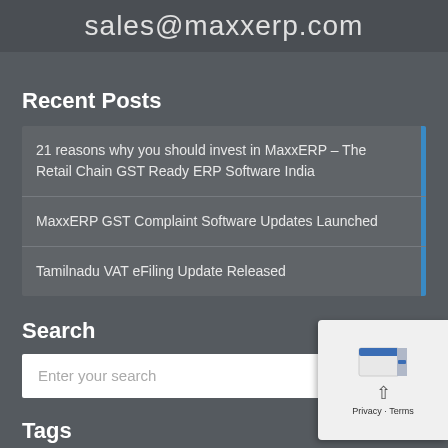sales@maxxerp.com
Recent Posts
21 reasons why you should invest in MaxxERP – The Retail Chain GST Ready ERP Software India
MaxxERP GST Complaint Software Updates Launched
Tamilnadu VAT eFiling Update Released
Search
Enter your search
Tags